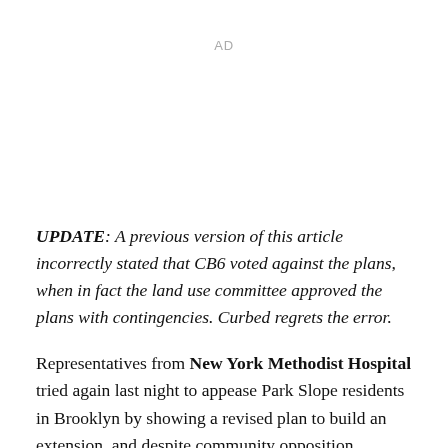AD
UPDATE: A previous version of this article incorrectly stated that CB6 voted against the plans, when in fact the land use committee approved the plans with contingencies. Curbed regrets the error.
Representatives from New York Methodist Hospital tried again last night to appease Park Slope residents in Brooklyn by showing a revised plan to build an extension, and despite community opposition,